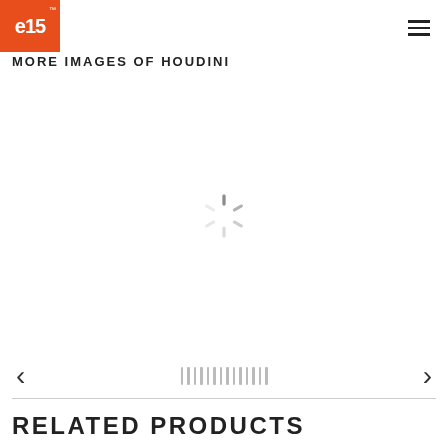e15 logo and navigation header
MORE IMAGES OF HOUDINI
[Figure (other): Loading spinner (activity indicator) centered in gallery area while product images load]
RELATED PRODUCTS